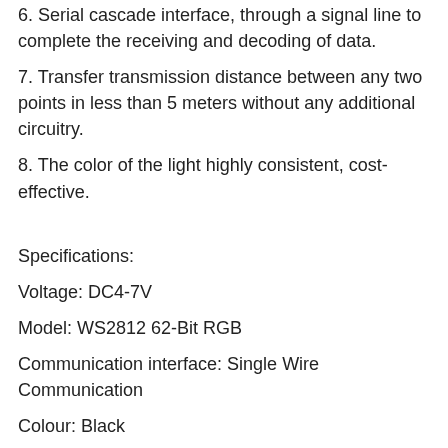6. Serial cascade interface, through a signal line to complete the receiving and decoding of data.
7. Transfer transmission distance between any two points in less than 5 meters without any additional circuitry.
8. The color of the light highly consistent, cost-effective.
Specifications:
Voltage: DC4-7V
Model: WS2812 62-Bit RGB
Communication interface: Single Wire Communication
Colour: Black
Outer diameter: 68mm